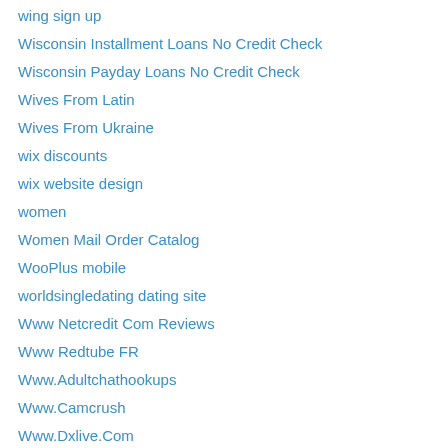wing sign up
Wisconsin Installment Loans No Credit Check
Wisconsin Payday Loans No Credit Check
Wives From Latin
Wives From Ukraine
wix discounts
wix website design
women
Women Mail Order Catalog
WooPlus mobile
worldsingledating dating site
Www Netcredit Com Reviews
Www Redtube FR
Www.Adultchathookups
Www.Camcrush
Www.Dxlive.Com
Www.Sextpanther